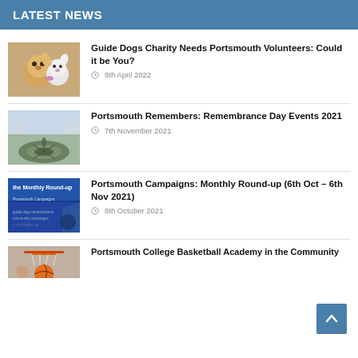LATEST NEWS
[Figure (photo): Two puppies, one golden, one white stuffed toy, guide dog related]
Guide Dogs Charity Needs Portsmouth Volunteers: Could it be You?
8th April 2022
[Figure (photo): A memorial or garden with a circular pattern viewed from above]
Portsmouth Remembers: Remembrance Day Events 2021
7th November 2021
[Figure (photo): Blue banner reading 'the Monthly Round-up' with text about Portsmouth campaigns]
Portsmouth Campaigns: Monthly Round-up (6th Oct – 6th Nov 2021)
8th October 2021
[Figure (photo): Basketball going through a hoop, Portsmouth College Basketball Academy]
Portsmouth College Basketball Academy in the Community